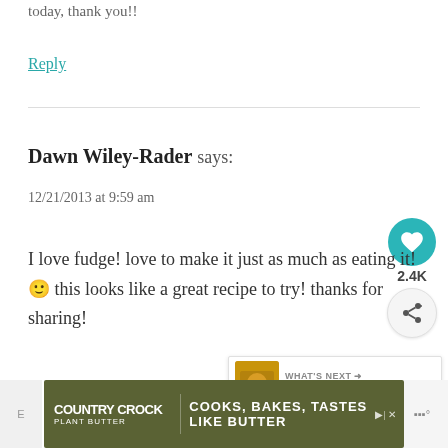today, thank you!!
Reply
Dawn Wiley-Rader says:
12/21/2013 at 9:59 am
I love fudge! love to make it just as much as eating it! 🙂 this looks like a great recipe to try! thanks for sharing!
[Figure (screenshot): Social sharing widget with heart/like button showing 2.4K count and share icon]
[Figure (screenshot): What's Next promotional panel showing Butterscotch Fudge with thumbnail]
[Figure (screenshot): Country Crock Plant Butter advertisement banner: COOKS, BAKES, TASTES LIKE BUTTER]